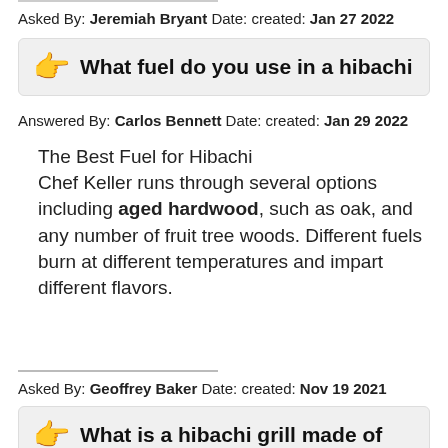Asked By: Jeremiah Bryant Date: created: Jan 27 2022
What fuel do you use in a hibachi
Answered By: Carlos Bennett Date: created: Jan 29 2022
The Best Fuel for Hibachi Chef Keller runs through several options including aged hardwood, such as oak, and any number of fruit tree woods. Different fuels burn at different temperatures and impart different flavors.
Asked By: Geoffrey Baker Date: created: Nov 19 2021
What is a hibachi grill made of
Answered By: Howard Wilson Date: created: Nov 20 2021